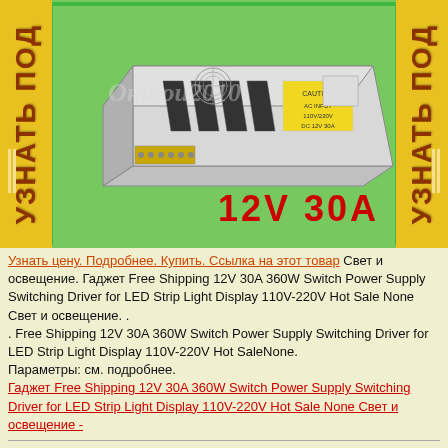[Figure (photo): 12V 30A 360W Switch Power Supply unit — a rectangular metal switching power supply with ventilation slots and terminal connections, shown on green background. Red text '12V 30A' visible in lower right of image. Watermark text 'Oнudou2010' across center.]
Узнать цену. Подробнее. Купить. Ссылка на этот товар Свет и освещение. Гаджет Free Shipping 12V 30A 360W Switch Power Supply Switching Driver for LED Strip Light Display 110V-220V Hot Sale None Свет и освещение. .
. Free Shipping 12V 30A 360W Switch Power Supply Switching Driver for LED Strip Light Display 110V-220V Hot SaleNone.
Параметры: см. подробнее.
Гаджет Free Shipping 12V 30A 360W Switch Power Supply Switching Driver for LED Strip Light Display 110V-220V Hot Sale None Свет и освещение -
Совершенные и надежные гаджеты с доставкой, наши цены вне конкуренции. Свет и освещение. Гаджет T2N2 New LED